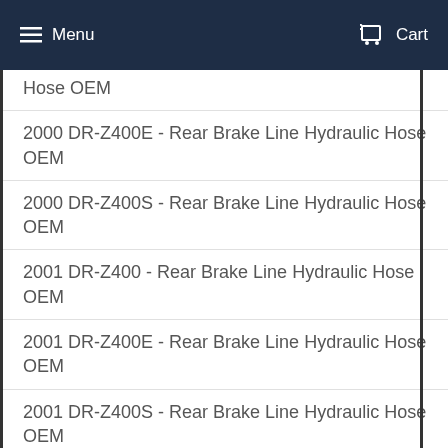Menu   Cart
Hose OEM
2000 DR-Z400E - Rear Brake Line Hydraulic Hose OEM
2000 DR-Z400S - Rear Brake Line Hydraulic Hose OEM
2001 DR-Z400 - Rear Brake Line Hydraulic Hose OEM
2001 DR-Z400E - Rear Brake Line Hydraulic Hose OEM
2001 DR-Z400S - Rear Brake Line Hydraulic Hose OEM
2002 DR-Z400 - Rear Brake Line Hydraulic Hose OEM
2002 DR-Z400E - Rear Brake Line Hydraulic